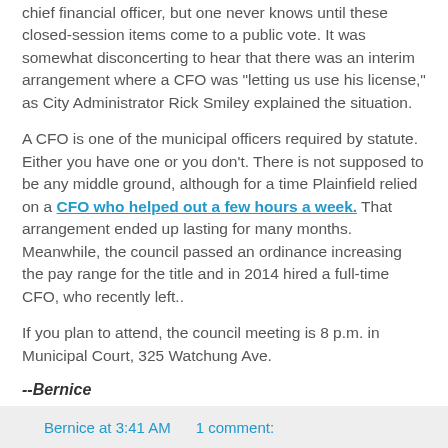chief financial officer, but one never knows until these closed-session items come to a public vote. It was somewhat disconcerting to hear that there was an interim arrangement where a CFO was "letting us use his license," as City Administrator Rick Smiley explained the situation.
A CFO is one of the municipal officers required by statute. Either you have one or you don't. There is not supposed to be any middle ground, although for a time Plainfield relied on a CFO who helped out a few hours a week. That arrangement ended up lasting for many months. Meanwhile, the council passed an ordinance increasing the pay range for the title and in 2014 hired a full-time CFO, who recently left..
If you plan to attend, the council meeting is 8 p.m. in Municipal Court, 325 Watchung Ave.
--Bernice
Bernice at 3:41 AM     1 comment: